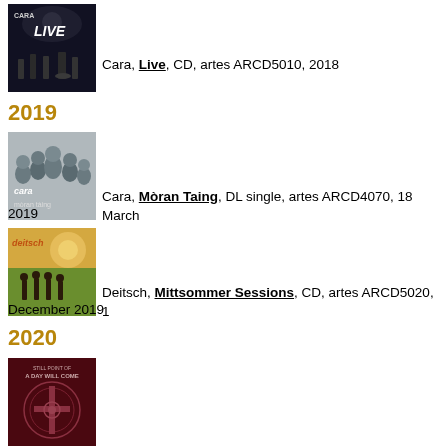[Figure (photo): Cara Live album cover - dark concert photo with text CARA LIVE]
Cara, Live, CD, artes ARCD5010, 2018
2019
[Figure (photo): Cara Moran Taing album cover - black and white group photo with text cara moran taing]
Cara, Mòran Taing, DL single, artes ARCD4070, 18 March 2019
[Figure (photo): Deitsch Mittsommer Sessions album cover - people in a field with warm sunlight, text deitsch]
Deitsch, Mittsommer Sessions, CD, artes ARCD5020, 1 December 2019
2020
[Figure (photo): A Day Will Come album cover - dark red/maroon cover with ornate cross design and text]